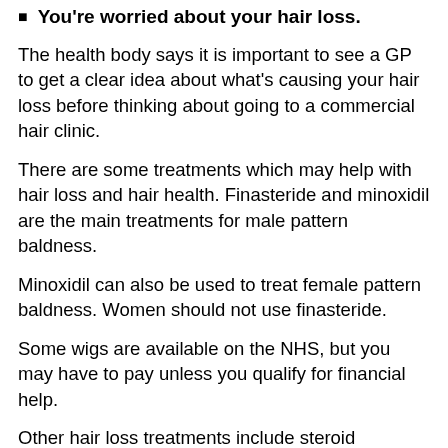You're worried about your hair loss.
The health body says it is important to see a GP to get a clear idea about what's causing your hair loss before thinking about going to a commercial hair clinic.
There are some treatments which may help with hair loss and hair health. Finasteride and minoxidil are the main treatments for male pattern baldness.
Minoxidil can also be used to treat female pattern baldness. Women should not use finasteride.
Some wigs are available on the NHS, but you may have to pay unless you qualify for financial help.
Other hair loss treatments include steroid injections and creams, as well as immunotherapy.
Some people also choose to have a hair transplant, which is when hair is removed from the back of the head and moved to thinning patches.